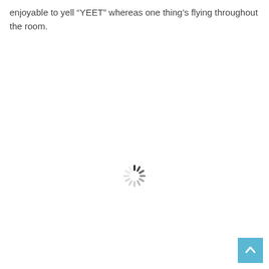enjoyable to yell “YEET” whereas one thing’s flying throughout the room.
[Figure (other): A loading spinner (circular activity indicator) with dark segments at the top fading to light gray, centered on the page.]